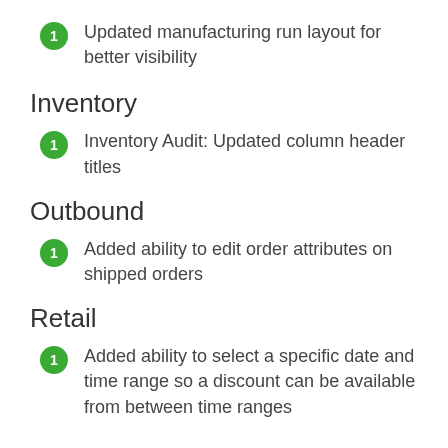Updated manufacturing run layout for better visibility
Inventory
Inventory Audit: Updated column header titles
Outbound
Added ability to edit order attributes on shipped orders
Retail
Added ability to select a specific date and time range so a discount can be available from between time ranges